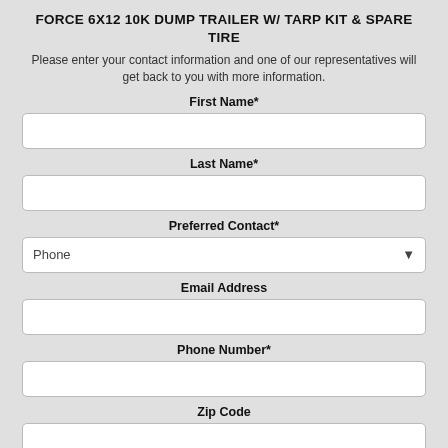FORCE 6X12 10K DUMP TRAILER W/ TARP KIT & SPARE TIRE
Please enter your contact information and one of our representatives will get back to you with more information.
First Name*
Last Name*
Preferred Contact*
Phone
Email Address
Phone Number*
Zip Code
Comments